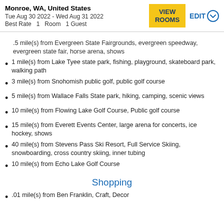Monroe, WA, United States
Tue Aug 30 2022 - Wed Aug 31 2022
Best Rate  1 Room  1 Guest
.5 mile(s) from Evergreen State Fairgrounds, evergreen speedway, evergreen state fair, horse arena, shows
1 mile(s) from Lake Tyee state park, fishing, playground, skateboard park, walking path
3 mile(s) from Snohomish public golf, public golf course
5 mile(s) from Wallace Falls State park, hiking, camping, scenic views
10 mile(s) from Flowing Lake Golf Course, Public golf course
15 mile(s) from Everett Events Center, large arena for concerts, ice hockey, shows
40 mile(s) from Stevens Pass Ski Resort, Full Service Skiing, snowboarding, cross country skiing, inner tubing
10 mile(s) from Echo Lake Golf Course
Shopping
.01 mile(s) from Ben Franklin, Craft, Decor